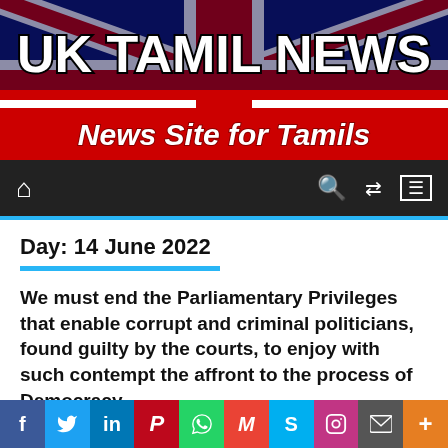[Figure (logo): UK Tamil News banner with Union Jack background. Top text: 'UK TAMIL NEWS' in large bold white letters with black outline. Bottom red ribbon with italic white text: 'News Site for Tamils']
Navigation bar with home icon, search icon, shuffle icon, and menu icon
Day: 14 June 2022
We must end the Parliamentary Privileges that enable corrupt and criminal politicians, found guilty by the courts, to enjoy with such contempt the affront to the process of Democracy.
[Figure (infographic): Social media sharing bar with buttons: Facebook (f), Twitter (bird), LinkedIn (in), Pinterest (P), WhatsApp (phone), Gmail (M), Skype (S), Instagram (camera), Email (envelope), More (+)]